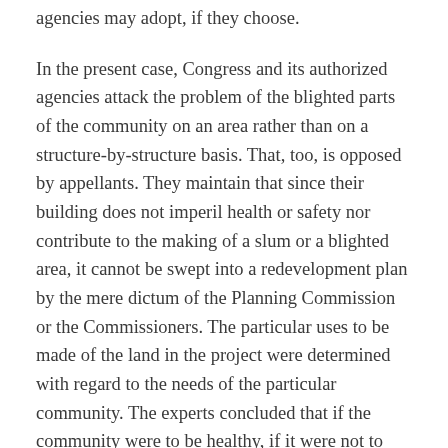agencies may adopt, if they choose.
In the present case, Congress and its authorized agencies attack the problem of the blighted parts of the community on an area rather than on a structure-by-structure basis. That, too, is opposed by appellants. They maintain that since their building does not imperil health or safety nor contribute to the making of a slum or a blighted area, it cannot be swept into a redevelopment plan by the mere dictum of the Planning Commission or the Commissioners. The particular uses to be made of the land in the project were determined with regard to the needs of the particular community. The experts concluded that if the community were to be healthy, if it were not to revert again to a blighted or slum area, as though possessed of a congenital disease, the area must be planned as a whole. It was not enough, they believed, to remove existing buildings that were insanitary or unsightly. It was important to redesign the